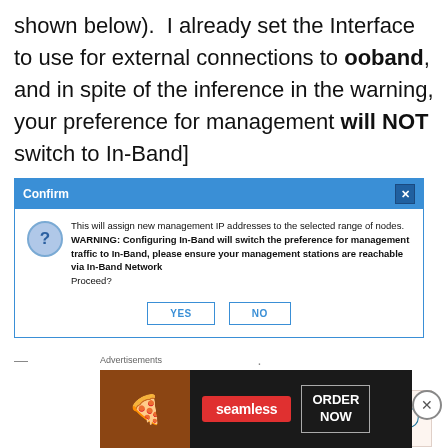shown below).  I already set the Interface to use for external connections to ooband, and in spite of the inference in the warning, your preference for management will NOT switch to In-Band]
[Figure (screenshot): A dialog box titled 'Confirm' with a blue title bar and close button. Contains a question mark icon and text: 'This will assign new management IP addresses to the selected range of nodes. WARNING: Configuring In-Band will switch the preference for management traffic to In-Band, please ensure your management stations are reachable via In-Band Network. Proceed?' with YES and NO buttons.]
Advertisements
[Figure (screenshot): Advertisement: 'Need a website quickly – and on a budget?' with WordPress logo]
REPORT THIS AD
Advertisements
[Figure (screenshot): Seamless advertisement with pizza image, red seamless badge, and ORDER NOW box]